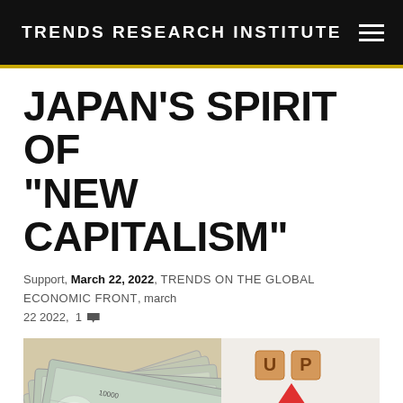TRENDS RESEARCH INSTITUTE
JAPAN'S SPIRIT OF “NEW CAPITALISM”
Support, March 22, 2022, TRENDS ON THE GLOBAL ECONOMIC FRONT, march 22 2022, 1
[Figure (photo): Photo showing fanned Japanese 10000 yen banknotes on the left side, and on the right side a red upward arrow with the letters 'UP' made of wooden tiles on a light background.]